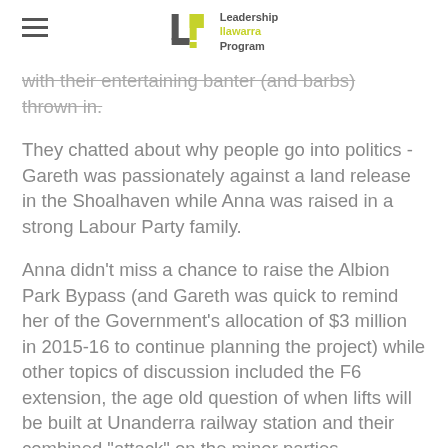Leadership Ilawarra Program
with their entertaining banter (and barbs) thrown in.
They chatted about why people go into politics - Gareth was passionately against a land release in the Shoalhaven while Anna was raised in a strong Labour Party family.
Anna didn't miss a chance to raise the Albion Park Bypass (and Gareth was quick to remind her of the Government's allocation of $3 million in 2015-16 to continue planning the project) while other topics of discussion included the F6 extension, the age old question of when lifts will be built at Unanderra railway station and their combined "attack" on the minor parties.